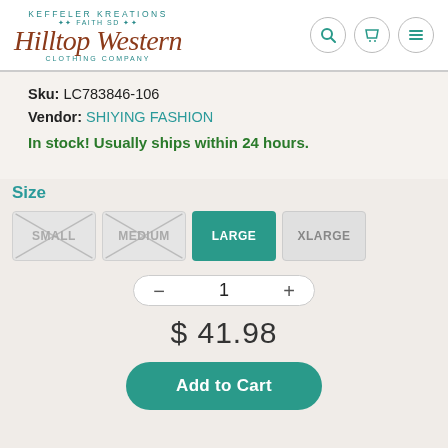[Figure (logo): Hilltop Western Clothing Company logo — Keffeler Kreations, Faith SD]
Sku: LC783846-106
Vendor: SHIYING FASHION
In stock! Usually ships within 24 hours.
Size
SMALL (unavailable), MEDIUM (unavailable), LARGE (selected), XLARGE (available)
Quantity: 1
$ 41.98
Add to Cart